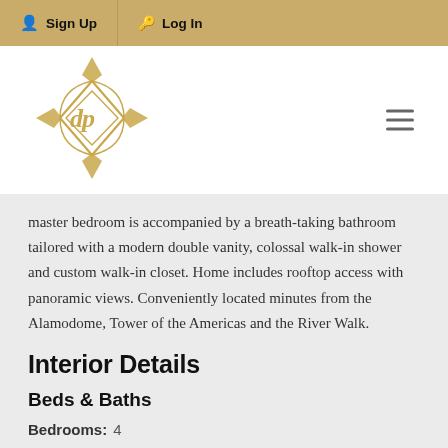Sign Up  Log In
[Figure (logo): Diamond-shaped ornamental logo with letters dp inside, golden color]
master bedroom is accompanied by a breath-taking bathroom tailored with a modern double vanity, colossal walk-in shower and custom walk-in closet. Home includes rooftop access with panoramic views. Conveniently located minutes from the Alamodome, Tower of the Americas and the River Walk.
Interior Details
Beds & Baths
Bedrooms:  4
Bathrooms:  3